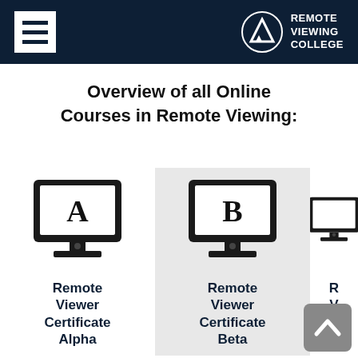Remote Viewing College
Overview of all Online Courses in Remote Viewing:
[Figure (illustration): Monitor icon with letter A - Remote Viewer Certificate Alpha course icon]
Remote Viewer Certificate Alpha
[Figure (illustration): Monitor icon with letter B - Remote Viewer Certificate Beta course icon (highlighted with grey background)]
Remote Viewer Certificate Beta
[Figure (illustration): Partially visible monitor icon - Remote Viewer Certificate Gamma course icon (cropped)]
Remote Viewer Certificate Ga...